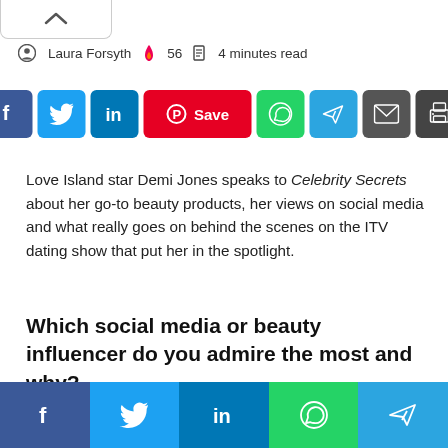Laura Forsyth  🔥 56  📖 4 minutes read
[Figure (infographic): Social share buttons: Facebook, Twitter, LinkedIn, Pinterest Save, WhatsApp, Telegram, Email, Print]
Love Island star Demi Jones speaks to Celebrity Secrets about her go-to beauty products, her views on social media and what really goes on behind the scenes on the ITV dating show that put her in the spotlight.
Which social media or beauty influencer do you admire the most and why?
[Figure (infographic): Bottom share bar: Facebook, Twitter, LinkedIn, WhatsApp, Telegram]